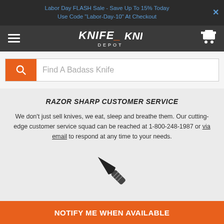Labor Day FLASH Sale - Save Up To 15% Today
Use Code "Labor-Day-10" At Checkout
[Figure (logo): Knife Depot logo with hamburger menu and cart icon on dark background]
Find A Badass Knife
RAZOR SHARP CUSTOMER SERVICE
We don't just sell knives, we eat, sleep and breathe them. Our cutting-edge customer service squad can be reached at 1-800-248-1987 or via email to respond at any time to your needs.
[Figure (illustration): Black silhouette icon of a knife pointing diagonally]
10,000 BADASS KNIVES IN STOCK
We carry a... 's top brands, like... you're
NOTIFY ME WHEN AVAILABLE